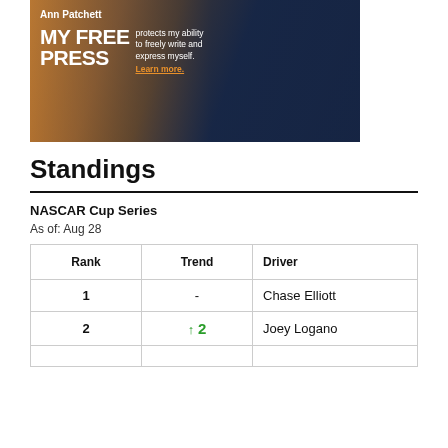[Figure (illustration): Advertisement banner featuring Ann Patchett with text 'MY FREE PRESS protects my ability to freely write and express myself. Learn more.']
Standings
NASCAR Cup Series
As of: Aug 28
| Rank | Trend | Driver |
| --- | --- | --- |
| 1 | - | Chase Elliott |
| 2 | ↑ 2 | Joey Logano |
| 3 |  |  |